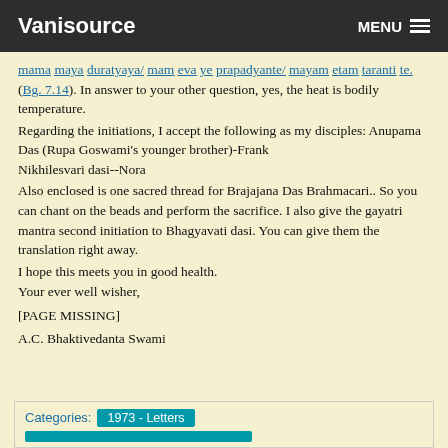Vanisource | MENU
mama maya duratyaya/ mam eva ye prapadyante/ mayam etam taranti te. (Bg. 7.14). In answer to your other question, yes, the heat is bodily temperature.
Regarding the initiations, I accept the following as my disciples: Anupama Das (Rupa Goswami's younger brother)-Frank
Nikhilesvari dasi--Nora
Also enclosed is one sacred thread for Brajajana Das Brahmacari.. So you can chant on the beads and perform the sacrifice. I also give the gayatri mantra second initiation to Bhagyavati dasi. You can give them the translation right away.
I hope this meets you in good health.
Your ever well wisher,
[PAGE MISSING]
A.C. Bhaktivedanta Swami
| Categories: | 1973 - Letters |
| --- | --- |